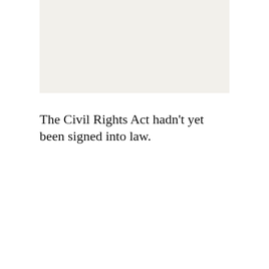[Figure (other): A light beige/off-white rectangular image placeholder at the top of the page]
The Civil Rights Act hadn't yet been signed into law.